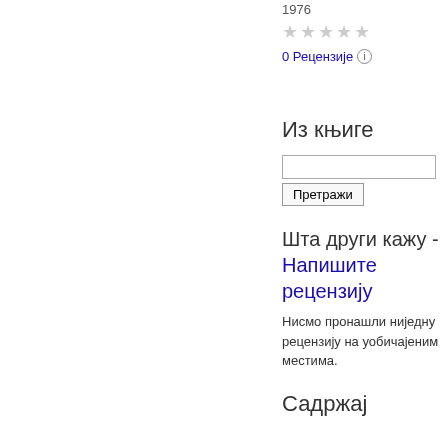1976
★★★★★ (empty stars)
0 Рецензије ⓘ
Из књиге
Претражи
Шта други кажу - Напишите рецензију
Нисмо пронашли ниједну рецензију на уобичајеним местима.
Садржај